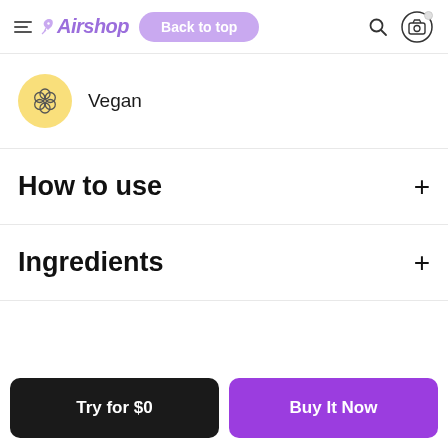Airshop — Back to top
[Figure (infographic): Vegan badge: golden circle with flower/lattice icon, followed by text 'Vegan']
How to use
Ingredients
Try for $0
Buy It Now